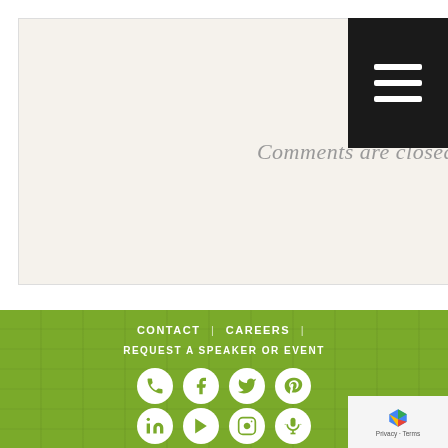Comments are closed.
[Figure (screenshot): Dark hamburger menu button (three white horizontal bars on black background) in the top right corner]
[Figure (infographic): Green wood-textured footer with navigation links CONTACT | CAREERS | REQUEST A SPEAKER OR EVENT and two rows of social media icon circles: Row 1: Phone, Facebook, Twitter, Pinterest; Row 2: LinkedIn, YouTube, Instagram, Podcast/Microphone]
CONTACT | CAREERS | REQUEST A SPEAKER OR EVENT